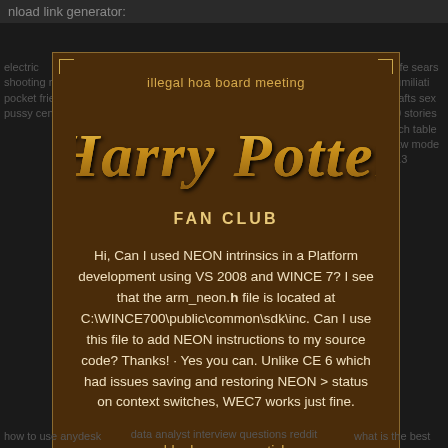nload link generator:
illegal hoa board meeting
[Figure (illustration): Harry Potter Fan Club logo with stylized golden Harry Potter text and FAN CLUB subtitle on brown background]
Hi, Can I used NEON intrinsics in a Platform development using VS 2008 and WINCE 7? I see that the arm_neon.h file is located at C:\WINCE700\public\common\sdk\inc. Can I use this file to add NEON instructions to my source code? Thanks! · Yes you can. Unlike CE 6 which had issues saving and restoring NEON > status on context switches, WEC7 works just fine.
blueberry vape stick